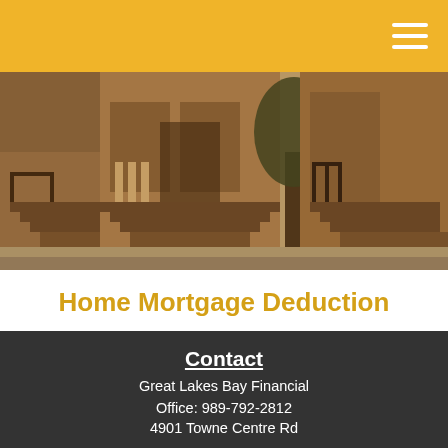[Figure (photo): Exterior photo of brownstone apartment buildings with ornate iron railings and staircases, street-level view with warm sepia tones]
Home Mortgage Deduction
Use this calculator to assess the potential benefits of a home mortgage deduction.
Contact
Great Lakes Bay Financial
Office: 989-792-2812
4901 Towne Centre Rd